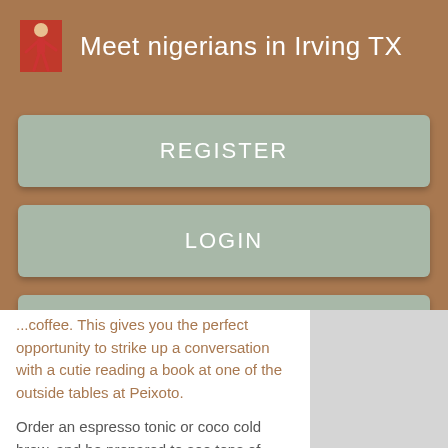Meet nigerians in Irving TX
REGISTER
LOGIN
CONTACT US
...coffee. This gives you the perfect opportunity to strike up a conversation with a cutie reading a book at one of the outside tables at Peixoto.
Order an espresso tonic or coco cold brew, and be prepared to see tons of attractive locals come in